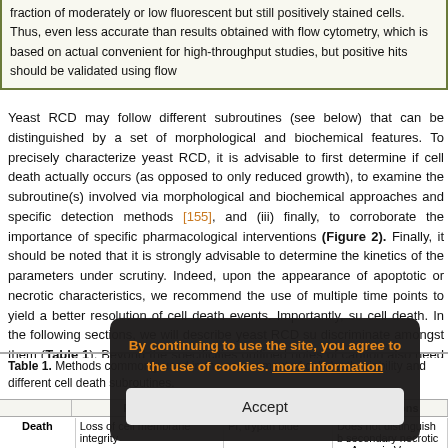fraction of moderately or low fluorescent but still positively stained cells. Thus, even less accurate than results obtained with flow cytometry, which is based on actual convenient for high-throughput studies, but positive hits should be validated using flow
Yeast RCD may follow different subroutines (see below) that can be distinguished by a set of morphological and biochemical features. To precisely characterize yeast RCD, it is advisable to first determine if cell death actually occurs (as opposed to only reduced growth), to examine the subroutine(s) involved via morphological and biochemical approaches and specific detection methods [155], and (iii) finally, to corroborate the importance of specific pharmacological interventions (Figure 2). Finally, it should be noted that it is strongly advisable to determine the kinetics of the parameters under scrutiny. Indeed, upon the appearance of apoptotic or necrotic characteristics, we recommend the use of multiple time points to yield a better resolution of cell death events. Importantly, such kinetics differ between cell death. In the following sections, we will describe yeast RCD subroutines and how to discriminate amongst them (Table 1). Beyond the specificities outlined above, some general notes of caution also need to be considered (Box 2).
Table 1. Methods commonly used in the assessment of cell death, viability and different cell death subroutines.
|  | Features | Method | Limitations |
| --- | --- | --- | --- |
| Death | Loss of cell membrane integrity | PI, trypan blue | Does not distinguish b secondary necrotic ce Annexin V assay and b |